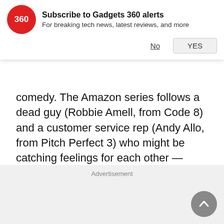[Figure (logo): Gadgets 360 red circular logo with '360' text]
Subscribe to Gadgets 360 alerts
For breaking tech news, latest reviews, and more
comedy. The Amazon series follows a dead guy (Robbie Amell, from Code 8) and a customer service rep (Andy Allo, from Pitch Perfect 3) who might be catching feelings for each other — except they are in different worlds, literally.
Advertisement